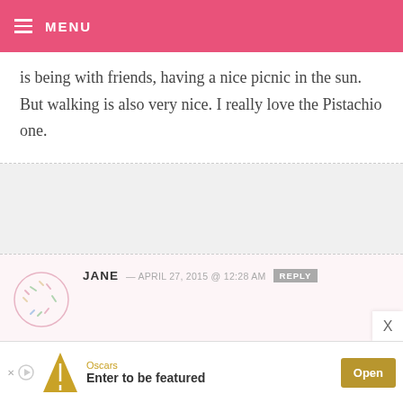MENU
is being with friends, having a nice picnic in the sun. But walking is also very nice. I really love the Pistachio one.
JANE — APRIL 27, 2015 @ 12:28 AM REPLY
my favorite outdoor activity... gardening!!! and I love the silver metallic mixer!
X
Oscars Enter to be featured Open